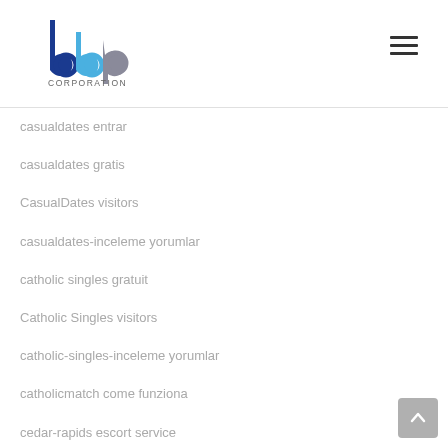bbp CORPORATION
casualdates entrar
casualdates gratis
CasualDates visitors
casualdates-inceleme yorumlar
catholic singles gratuit
Catholic Singles visitors
catholic-singles-inceleme yorumlar
catholicmatch come funziona
cedar-rapids escort service
centennial eros escort